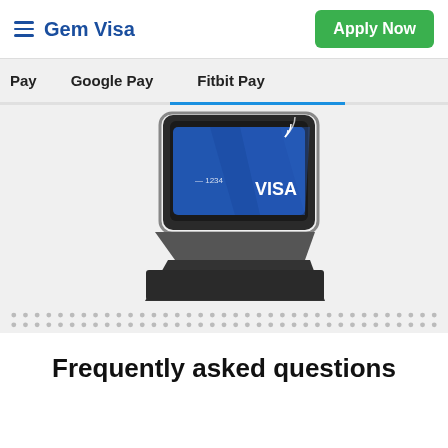Gem Visa | Apply Now
Pay   Google Pay   Fitbit Pay
[Figure (photo): A Fitbit smartwatch displaying a Visa credit card (blue card with VISA logo and contactless payment symbol) for Fitbit Pay.]
Frequently asked questions